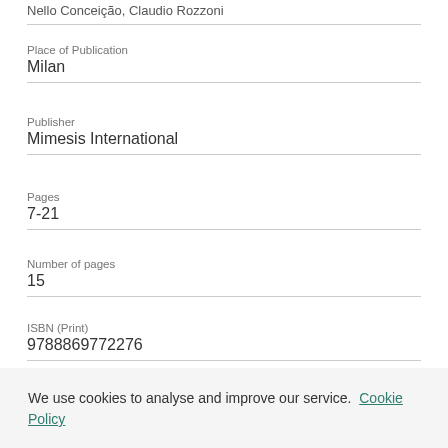Nello Conceição, Claudio Rozzoni
Place of Publication
Milan
Publisher
Mimesis International
Pages
7-21
Number of pages
15
ISBN (Print)
9788869772276
Publication status
We use cookies to analyse and improve our service. Cookie Policy